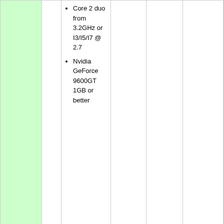| Region | ? | CPU | PCSX2 Version | GSdx Plugin | SPU2 Plugin | Notes |
| --- | --- | --- | --- | --- | --- | --- |
| NTSC-U | ? | Core 2 duo from 3.2GHz or I3/I5/I7 @ 2.7 | Nvidia GeForce 9600GT 1GB or better | 0.9.8 r4895 ( SVN ) | GSDX SSE4 (r4895) | SPU2-X 2.0 (r4872) | EECycling( which causes huge speed up, and cause fake FPS (slider2/3)) recomended Speedhacks specially MTVU ( if you're on triple core or higher may cause a decent increase on dual cores ) don't use EE Cycling minimum speed will |